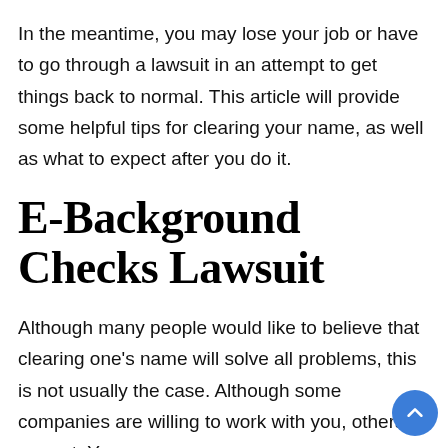In the meantime, you may lose your job or have to go through a lawsuit in an attempt to get things back to normal. This article will provide some helpful tips for clearing your name, as well as what to expect after you do it.
E-Background Checks Lawsuit
Although many people would like to believe that clearing one's name will solve all problems, this is not usually the case. Although some companies are willing to work with you, others are not. Your